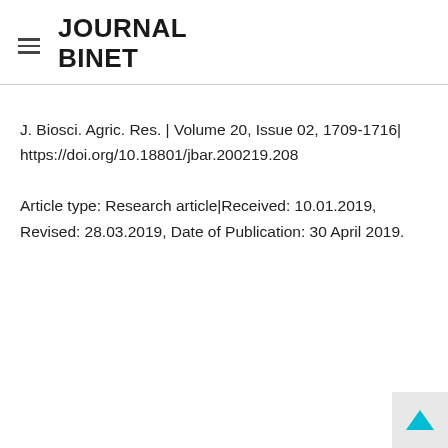JOURNAL BINET
J. Biosci. Agric. Res. | Volume 20, Issue 02, 1709-1716| https://doi.org/10.18801/jbar.200219.208
Article type: Research article|Received: 10.01.2019, Revised: 28.03.2019, Date of Publication: 30 April 2019.